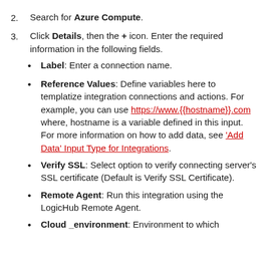2. Search for Azure Compute.
3. Click Details, then the + icon. Enter the required information in the following fields.
Label: Enter a connection name.
Reference Values: Define variables here to templatize integration connections and actions. For example, you can use https://www.{{hostname}}.com where, hostname is a variable defined in this input. For more information on how to add data, see 'Add Data' Input Type for Integrations.
Verify SSL: Select option to verify connecting server's SSL certificate (Default is Verify SSL Certificate).
Remote Agent: Run this integration using the LogicHub Remote Agent.
Cloud _environment: Environment to which